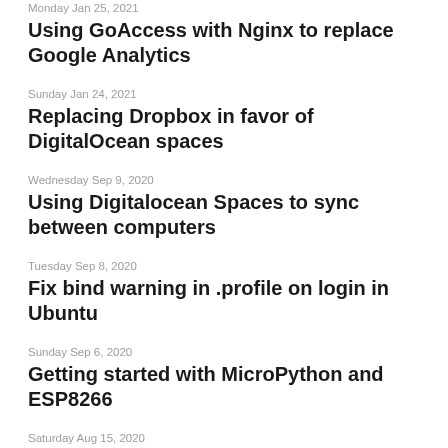Monday Jan 25, 2021
Using GoAccess with Nginx to replace Google Analytics
Sunday Jan 24, 2021
Replacing Dropbox in favor of DigitalOcean spaces
Wednesday Sep 9, 2020
Using Digitalocean Spaces to sync between computers
Tuesday Sep 8, 2020
Fix bind warning in .profile on login in Ubuntu
Sunday Sep 6, 2020
Getting started with MicroPython and ESP8266
Saturday Aug 15, 2020
Disable mouse wake from suspend with systemd service